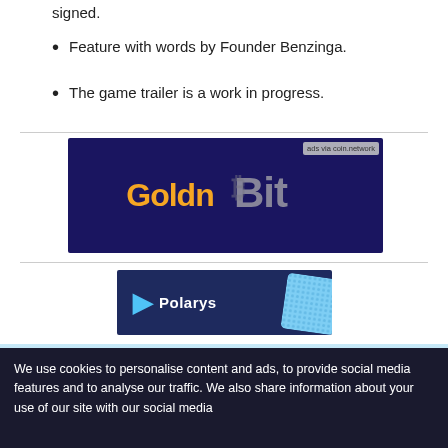signed.
Feature with words by Founder Benzinga.
The game trailer is a work in progress.
[Figure (illustration): GoldnBit advertisement banner with dark blue background showing 'Goldn' in orange and 'Bit' in grey text with bitcoin symbol. Badge reads 'ads via coin.network'.]
[Figure (illustration): Polarys advertisement banner with dark navy background showing Polarys logo and name with a card/chip image on the right.]
[Figure (illustration): Tamadoge advertisement banner with light blue sky background showing a gold coin with lion face, TAMADOGE text in black, and a cartoon dog character.]
We use cookies to personalise content and ads, to provide social media features and to analyse our traffic. We also share information about your use of our site with our social media